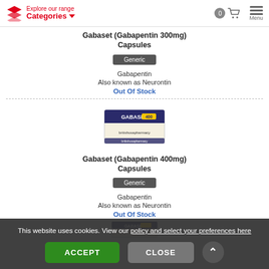Explore our range Categories
Gabaset (Gabapentin 300mg) Capsules
Generic
Gabapentin
Also known as Neurontin
Out Of Stock
[Figure (photo): Gabaset 400mg capsules medicine box]
Gabaset (Gabapentin 400mg) Capsules
Generic
Gabapentin
Also known as Neurontin
Out Of Stock
This website uses cookies. View our policy and select your preferences here
ACCEPT
CLOSE